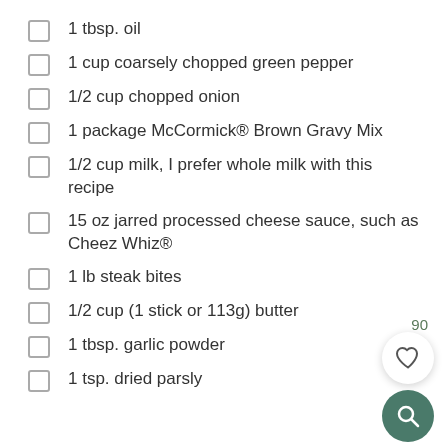1 tbsp. oil
1 cup coarsely chopped green pepper
1/2 cup chopped onion
1 package McCormick® Brown Gravy Mix
1/2 cup milk, I prefer whole milk with this recipe
15 oz jarred processed cheese sauce, such as Cheez Whiz®
1 lb steak bites
1/2 cup (1 stick or 113g) butter
1 tbsp. garlic powder
1 tsp. dried parsly